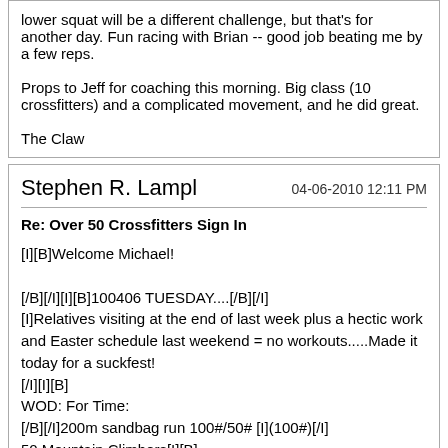lower squat will be a different challenge, but that's for another day. Fun racing with Brian -- good job beating me by a few reps.

Props to Jeff for coaching this morning. Big class (10 crossfitters) and a complicated movement, and he did great.

The Claw
Stephen R. Lampl   04-06-2010 12:11 PM
Re: Over 50 Crossfitters Sign In
[I][B]Welcome Michael!

[/B][/I][I][B]100406 TUESDAY....[/B][/I]
[I]Relatives visiting at the end of last week plus a hectic work and Easter schedule last weekend = no workouts.....Made it today for a suckfest!
[/I][I][B]
WOD: For Time:
[/B][/I]200m sandbag run 100#/50# [I](100#)[/I]
50 Mountain Climbers[I][B]
Then.....5 rounds of
[/B][/I]10 OHS 115#/55# [I](scaled to weighted PVC due to my UGLY form!)
[/I]10 Pull-ups
10 Ring dips [I](jumping)
[B]Then.....